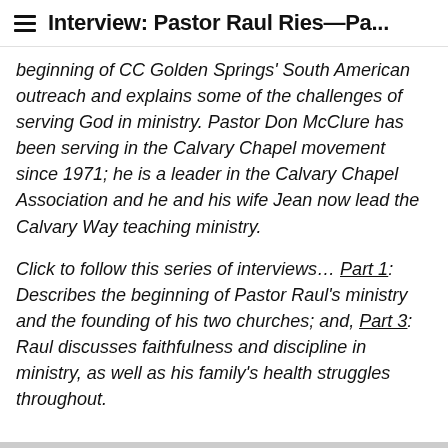Interview: Pastor Raul Ries—Pa...
beginning of CC Golden Springs' South American outreach and explains some of the challenges of serving God in ministry. Pastor Don McClure has been serving in the Calvary Chapel movement since 1971; he is a leader in the Calvary Chapel Association and he and his wife Jean now lead the Calvary Way teaching ministry.
Click to follow this series of interviews… Part 1: Describes the beginning of Pastor Raul's ministry and the founding of his two churches; and, Part 3: Raul discusses faithfulness and discipline in ministry, as well as his family's health struggles throughout.